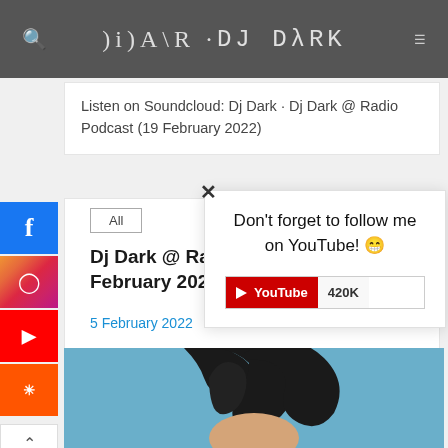DJ DARK
Listen on Soundcloud: Dj Dark · Dj Dark @ Radio Podcast (19 February 2022)
Don't forget to follow me on YouTube! 😁
[Figure (screenshot): YouTube subscribe button showing 420K subscribers]
All
Dj Dark @ Ra... February 202...
5 February 2022
[Figure (photo): Photo of a person with dark hair on a blue background]